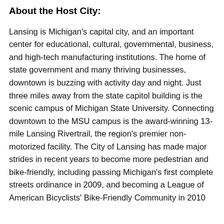About the Host City:
Lansing is Michigan's capital city, and an important center for educational, cultural, governmental, business, and high-tech manufacturing institutions. The home of state government and many thriving businesses, downtown is buzzing with activity day and night. Just three miles away from the state capitol building is the scenic campus of Michigan State University. Connecting downtown to the MSU campus is the award-winning 13-mile Lansing Rivertrail, the region's premier non-motorized facility. The City of Lansing has made major strides in recent years to become more pedestrian and bike-friendly, including passing Michigan's first complete streets ordinance in 2009, and becoming a League of American Bicyclists' Bike-Friendly Community in 2010